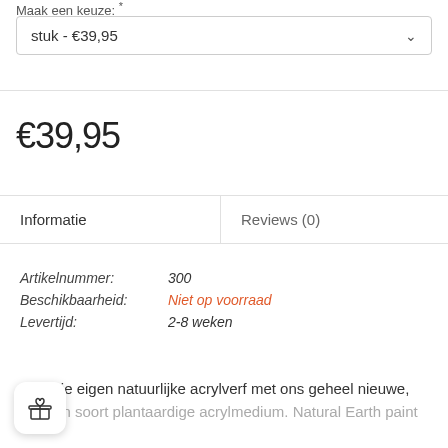Maak een keuze: *
stuk - €39,95
€39,95
Informatie
Reviews (0)
Artikelnummer: 300
Beschikbaarheid: Niet op voorraad
Levertijd: 2-8 weken
Maak je eigen natuurlijke acrylverf met ons geheel nieuwe,
a in zijn soort plantaardige acrylmedium. Natural Earth paint